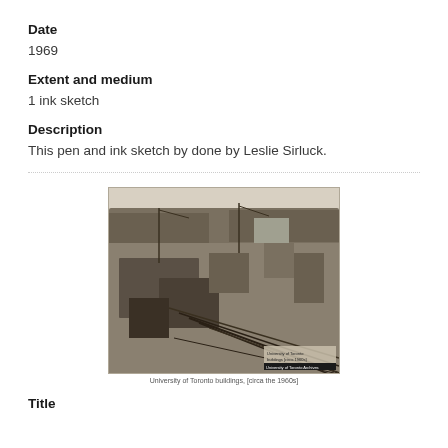Date
1969
Extent and medium
1 ink sketch
Description
This pen and ink sketch by done by Leslie Sirluck.
[Figure (photo): Black and white aerial photograph of a construction site, showing excavation work, cranes, a waterway, and surrounding trees.]
University of Toronto buildings, [circa the 1960s]
Title